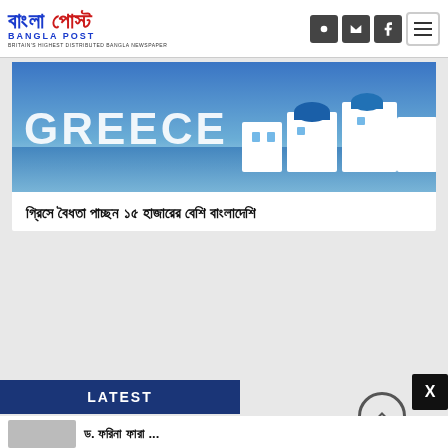Bangla Post — Britain's Highest Distributed Bangla Newspaper
[Figure (photo): Greece travel banner photo showing Santorini white buildings with blue domes and 'GREECE' text overlay]
গ্রিসে বৈধতা পাচ্ছন ১৫ হাজারের বেশি বাংলাদেশি
LATEST
ড. ফরিনা ফারা ...